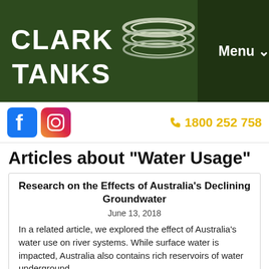[Figure (logo): Clark Tanks logo with stylized tank icon on dark green background, with Menu dropdown button]
[Figure (infographic): Social media bar with Facebook and Instagram icons on left, phone number 1800 252 758 in yellow on right]
Articles about "Water Usage"
Research on the Effects of Australia's Declining Groundwater
June 13, 2018
In a related article, we explored the effect of Australia's water use on river systems. While surface water is impacted, Australia also contains rich reservoirs of water underground.